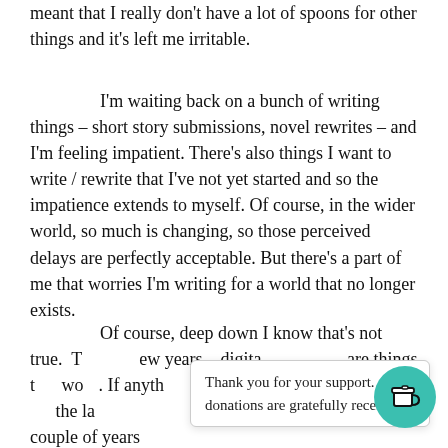meant that I really don't have a lot of spoons for other things and it's left me irritable.
I'm waiting back on a bunch of writing things – short story submissions, novel rewrites – and I'm feeling impatient. There's also things I want to write / rewrite that I've not yet started and so the impatience extends to myself. Of course, in the wider world, so much is changing, so those perceived delays are perfectly acceptable. But there's a part of me that worries I'm writing for a world that no longer exists.
Of course, deep down I know that's not true. T[...] ew years – digita[...] – are things t[...] wo[...] If anyth[...] tic[...] I've bee[...] the last couple of years
Thank you for your support. All donations are gratefully received